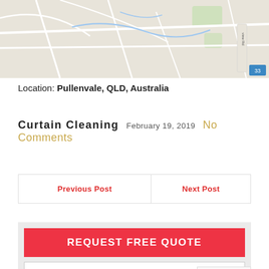[Figure (map): Google Maps partial view showing road map of Pullenvale area, QLD, Australia]
Location: Pullenvale, QLD, Australia
Curtain Cleaning  February 19, 2019  No Comments
| Previous Post | Next Post |
REQUEST FREE QUOTE
NAME
EMAIL